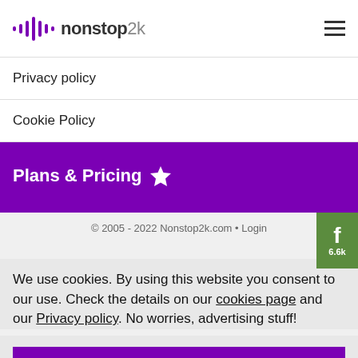nonstop2k
Privacy policy
Cookie Policy
Plans & Pricing
© 2005 - 2022 Nonstop2k.com • Login
We use cookies. By using this website you consent to our use. Check the details on our cookies page and our Privacy policy. No worries, advertising stuff!
OK got it!